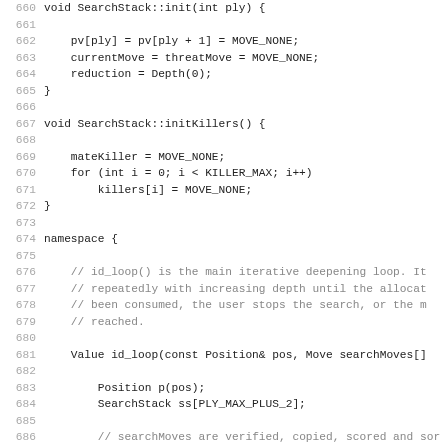[Figure (screenshot): Source code listing showing C++ code for SearchStack::init, SearchStack::initKillers, and the beginning of an id_loop function in an anonymous namespace. Line numbers 660-691 are visible.]